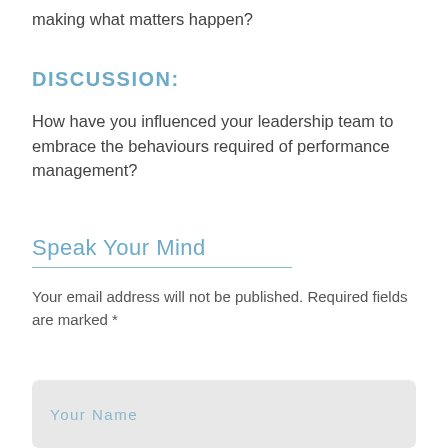making what matters happen?
DISCUSSION:
How have you influenced your leadership team to embrace the behaviours required of performance management?
Speak Your Mind
Your email address will not be published. Required fields are marked *
Your Name